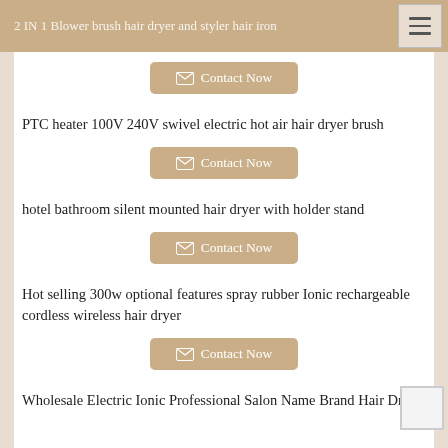2 IN 1 Blower brush hair dryer and styler hair iron
2 IN 1 Blower brush hair dryer and styler hair iron
Contact Now
PTC heater 100V 240V swivel electric hot air hair dryer brush
Contact Now
hotel bathroom silent mounted hair dryer with holder stand
Contact Now
Hot selling 300w optional features spray rubber Ionic rechargeable cordless wireless hair dryer
Contact Now
Wholesale Electric Ionic Professional Salon Name Brand Hair Dryer